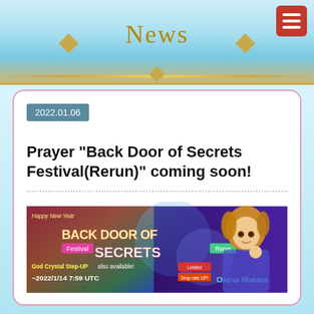News
2022.01.06
Prayer “Back Door of Secrets Festival(Rerun)” coming soon!
[Figure (illustration): Promotional banner for Back Door of Secrets Festival (Rerun) prayer event showing anime character Okina Matara. Text reads: Happy New Year, BACK DOOR OF SECRETS, Festival, Rerun, God Crystal Step-UP also available!, ~2022/1/14 7:59 UTC, Limited Drop rate UP!, Okina Matara]